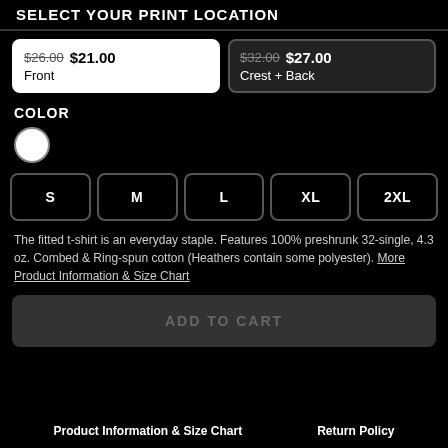SELECT YOUR PRINT LOCATION
$26.00 $21.00 Front
$32.00 $27.00 Crest + Back
COLOR
S M L XL 2XL
The fitted t-shirt is an everyday staple. Features 100% preshrunk 32-single, 4.3 oz. Combed & Ring-spun cotton (Heathers contain some polyester). More Product Information & Size Chart
ADD TO CART
Product Information & Size Chart   Return Policy